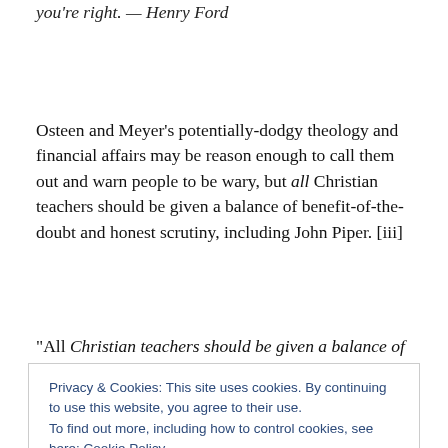you're right. — Henry Ford
Osteen and Meyer's potentially-dodgy theology and financial affairs may be reason enough to call them out and warn people to be wary, but all Christian teachers should be given a balance of benefit-of-the-doubt and honest scrutiny, including John Piper. [iii]
“All Christian teachers should be given a balance of
Privacy & Cookies: This site uses cookies. By continuing to use this website, you agree to their use.
To find out more, including how to control cookies, see here: Cookie Policy
which I probably won't bother to read). He is a gentleman